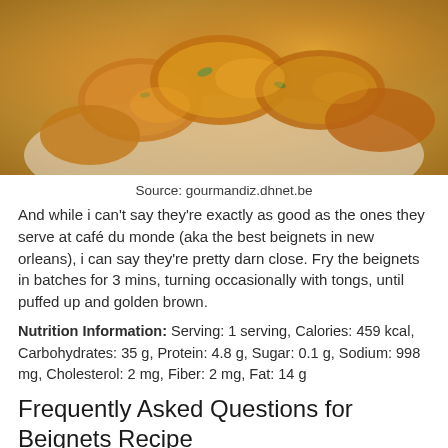[Figure (photo): Fried beignets on a white plate lined with paper towels, golden brown and puffed up]
Source: gourmandiz.dhnet.be
And while i can't say they're exactly as good as the ones they serve at café du monde (aka the best beignets in new orleans), i can say they're pretty darn close. Fry the beignets in batches for 3 mins, turning occasionally with tongs, until puffed up and golden brown.
Nutrition Information: Serving: 1 serving, Calories: 459 kcal, Carbohydrates: 35 g, Protein: 4.8 g, Sugar: 0.1 g, Sodium: 998 mg, Cholesterol: 2 mg, Fiber: 2 mg, Fat: 14 g
Frequently Asked Questions for Beignets Recipe
How to prepare beignets recipe?